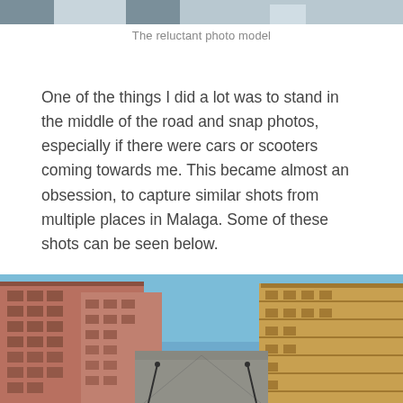[Figure (photo): Top portion of a photo showing a person, cropped at the top of the page]
The reluctant photo model
One of the things I did a lot was to stand in the middle of the road and snap photos, especially if there were cars or scooters coming towards me. This became almost an obsession, to capture similar shots from multiple places in Malaga. Some of these shots can be seen below.
[Figure (photo): Street view in Malaga showing apartment buildings on both sides with blue sky above, taken from the middle of the road looking down the street]